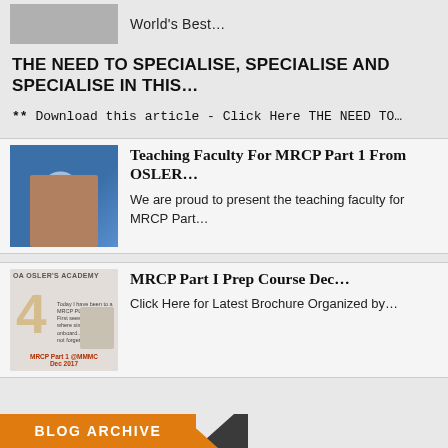World's Best...
THE NEED TO SPECIALISE, SPECIALISE AND SPECIALISE IN THIS...
** Download this article - Click Here THE NEED TO...
[Figure (photo): Photo of a man with number 3 overlay, blue background]
Teaching Faculty For MRCP Part 1 From OSLER...
We are proud to present the teaching faculty for MRCP Part...
[Figure (photo): MRCP Part 1 course brochure image with number 4 overlay]
MRCP Part I Prep Course Dec...
Click Here for Latest Brochure Organized by...
BLOG ARCHIVE